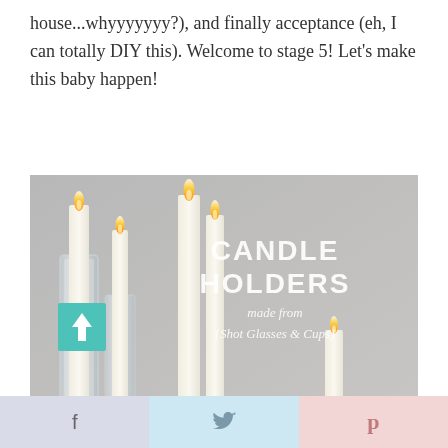house...whyyyyyyy?), and finally acceptance (eh, I can totally DIY this). Welcome to stage 5! Let's make this baby happen!
[Figure (photo): Photo of white taper candles in glass holders on a grey background, with text overlay reading 'CANDLE HOLDERS made from {Shot Glasses & Cups}' and a teal square with an upward arrow in the lower-left corner.]
f  |  [twitter bird]  |  p